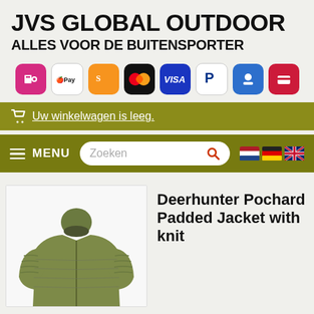JVS GLOBAL OUTDOOR
ALLES VOOR DE BUITENSPORTER
[Figure (infographic): Payment method icons: iDEAL, Apple Pay, Sofort, Mastercard, VISA, PayPal, bank transfer, credit card]
🛒 Uw winkelwagen is leeg.
≡ MENU   Zoeken 🔍   🇳🇱 🇩🇪 🇬🇧
[Figure (photo): Deerhunter Pochard Padded Jacket with knit product image showing olive/khaki jacket]
Deerhunter Pochard Padded Jacket with knit